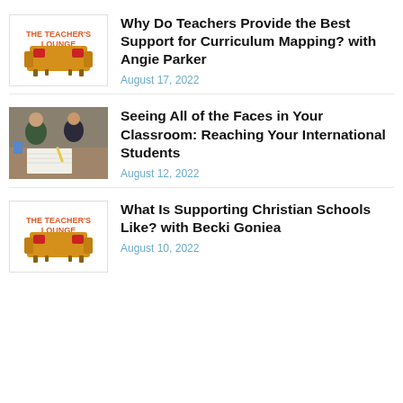[Figure (logo): The Teacher's Lounge logo with orange sofa illustration]
Why Do Teachers Provide the Best Support for Curriculum Mapping? with Angie Parker
August 17, 2022
[Figure (photo): Photo of students and teacher working together in classroom]
Seeing All of the Faces in Your Classroom: Reaching Your International Students
August 12, 2022
[Figure (logo): The Teacher's Lounge logo with orange sofa illustration]
What Is Supporting Christian Schools Like? with Becki Goniea
August 10, 2022